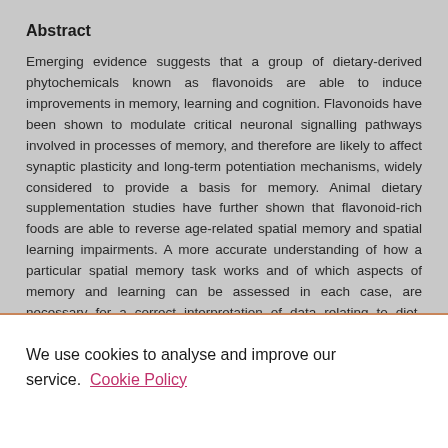Abstract
Emerging evidence suggests that a group of dietary-derived phytochemicals known as flavonoids are able to induce improvements in memory, learning and cognition. Flavonoids have been shown to modulate critical neuronal signalling pathways involved in processes of memory, and therefore are likely to affect synaptic plasticity and long-term potentiation mechanisms, widely considered to provide a basis for memory. Animal dietary supplementation studies have further shown that flavonoid-rich foods are able to reverse age-related spatial memory and spatial learning impairments. A more accurate understanding of how a particular spatial memory task works and of which aspects of memory and learning can be assessed in each case, are necessary for a correct interpretation of data relating to diet-cognition experiments. Further understanding of
We use cookies to analyse and improve our service. Cookie Policy